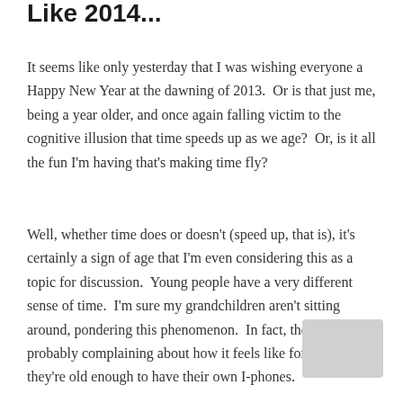Like 2014...
It seems like only yesterday that I was wishing everyone a Happy New Year at the dawning of 2013.  Or is that just me, being a year older, and once again falling victim to the cognitive illusion that time speeds up as we age?  Or, is it all the fun I'm having that's making time fly?
Well, whether time does or doesn't (speed up, that is), it's certainly a sign of age that I'm even considering this as a topic for discussion.  Young people have a very different sense of time.  I'm sure my grandchildren aren't sitting around, pondering this phenomenon.  In fact, they're probably complaining about how it feels like forever until they're old enough to have their own I-phones.